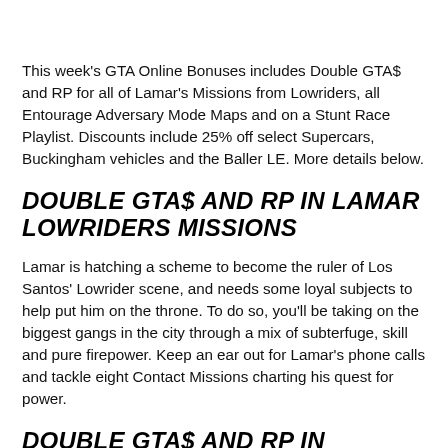This week's GTA Online Bonuses includes Double GTA$ and RP for all of Lamar's Missions from Lowriders, all Entourage Adversary Mode Maps and on a Stunt Race Playlist. Discounts include 25% off select Supercars, Buckingham vehicles and the Baller LE. More details below.
DOUBLE GTA$ AND RP IN LAMAR LOWRIDERS MISSIONS
Lamar is hatching a scheme to become the ruler of Los Santos' Lowrider scene, and needs some loyal subjects to help put him on the throne. To do so, you'll be taking on the biggest gangs in the city through a mix of subterfuge, skill and pure firepower. Keep an ear out for Lamar's phone calls and tackle eight Contact Missions charting his quest for power.
DOUBLE GTA$ AND RP IN ENTOURAGE